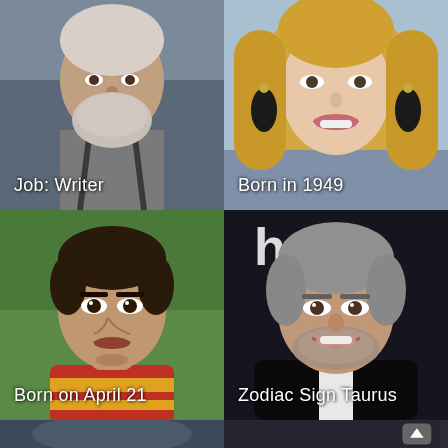[Figure (photo): Elderly bearded man with gray beard wearing gray shirt with suspenders, photographed outdoors]
Job: Writer
[Figure (photo): Older blonde woman smiling, wearing dark drop earrings, blue background]
Born in 1949
[Figure (photo): Young man in red and yellow Spanish football jersey, green field background, dark hair]
Born on April 21
[Figure (photo): Older man with gray hair and salt-and-pepper beard smiling, dark background with partial 'hulu' text visible]
Zodiac Sign Taurus
[Figure (photo): Partial image strip at bottom left]
[Figure (photo): Dark strip at bottom right with scroll-up arrow button]